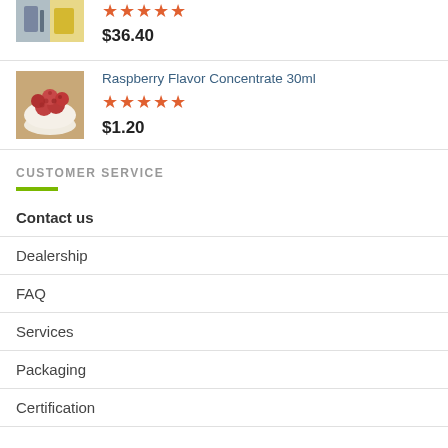[Figure (photo): Partial product image showing bottles, cut off at top]
$36.40
Raspberry Flavor Concentrate 30ml
[Figure (photo): Photo of raspberries in a white bowl]
$1.20
CUSTOMER SERVICE
Contact us
Dealership
FAQ
Services
Packaging
Certification